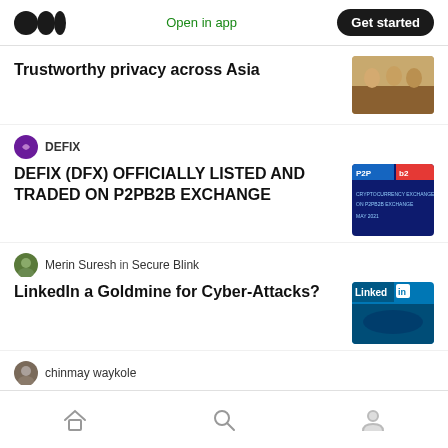Open in app | Get started
Trustworthy privacy across Asia
DEFIX
DEFIX (DFX) OFFICIALLY LISTED AND TRADED ON P2PB2B EXCHANGE
Merin Suresh in Secure Blink
LinkedIn a Goldmine for Cyber-Attacks?
chinmay waykole
Cyber Crime and Confusion Matrix
Home | Search | Profile